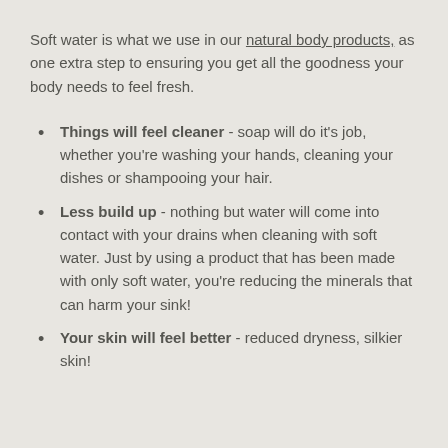Soft water is what we use in our natural body products, as one extra step to ensuring you get all the goodness your body needs to feel fresh.
Things will feel cleaner - soap will do it's job, whether you're washing your hands, cleaning your dishes or shampooing your hair.
Less build up - nothing but water will come into contact with your drains when cleaning with soft water. Just by using a product that has been made with only soft water, you're reducing the minerals that can harm your sink!
Your skin will feel better - reduced dryness, silkier skin!